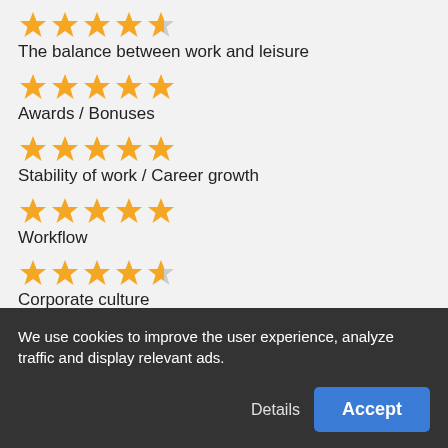★★★★☆ The balance between work and leisure
★★★★★ Awards / Bonuses
★★★★★ Stability of work / Career growth
★★★★★ Workflow
★★★★½ Corporate culture
Company reviews "Hyatt"
We use cookies to improve the user experience, analyze traffic and display relevant ads.
Details
Accept